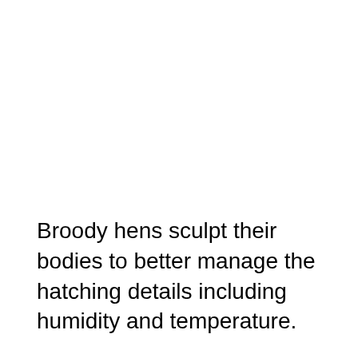Broody hens sculpt their bodies to better manage the hatching details including humidity and temperature.
You can expect the broody hen to remain in its ideal, somewhat private space, for most, if